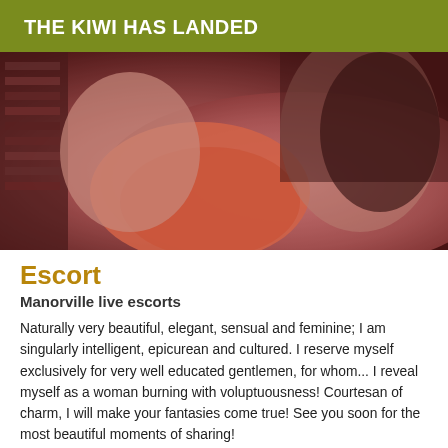THE KIWI HAS LANDED
[Figure (photo): A photo of a woman lying down, wearing pink/orange clothing, in a room with bookshelves visible in the background. Reddish-toned image.]
Escort
Manorville live escorts
Naturally very beautiful, elegant, sensual and feminine; I am singularly intelligent, epicurean and cultured. I reserve myself exclusively for very well educated gentlemen, for whom... I reveal myself as a woman burning with voluptuousness! Courtesan of charm, I will make your fantasies come true! See you soon for the most beautiful moments of sharing!